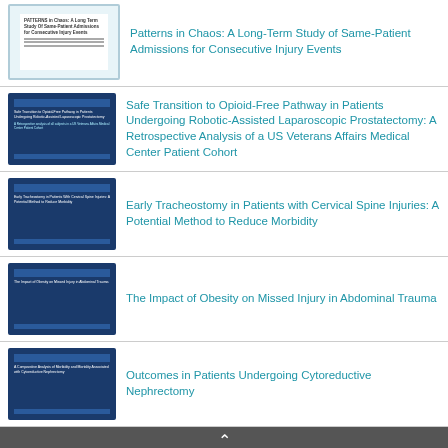Patterns in Chaos: A Long-Term Study of Same-Patient Admissions for Consecutive Injury Events
Safe Transition to Opioid-Free Pathway in Patients Undergoing Robotic-Assisted Laparoscopic Prostatectomy: A Retrospective Analysis of a US Veterans Affairs Medical Center Patient Cohort
Early Tracheostomy in Patients with Cervical Spine Injuries: A Potential Method to Reduce Morbidity
The Impact of Obesity on Missed Injury in Abdominal Trauma
Outcomes in Patients Undergoing Cytoreductive Nephrectomy
^